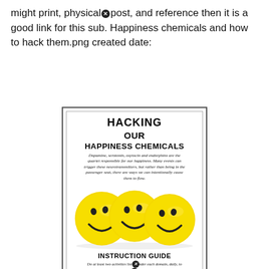might print, physically post, and reference then it is a good link for this sub. Happiness chemicals and how to hack them.png created date:
[Figure (illustration): A card/poster thumbnail showing 'HACKING OUR HAPPINESS CHEMICALS' title with italic descriptive text about dopamine, serotonin, oxytocin and endorphins, three yellow smiley face balls, and 'INSTRUCTION GUIDE' subtitle with italic instruction text below.]